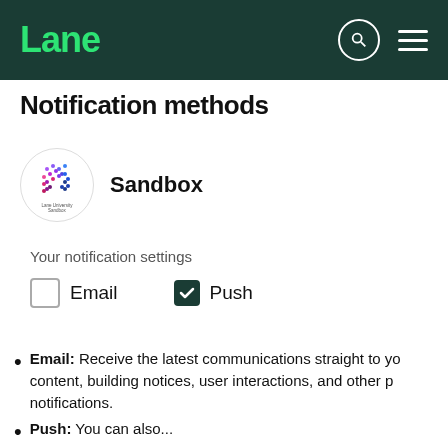[Figure (logo): Lane app logo - green text 'Lane' on dark green header background with search icon and hamburger menu]
Notification methods
[Figure (logo): Lane University Sandbox circular logo with colorful cube icon]
Sandbox
Your notification settings
Email (unchecked checkbox)
Push (checked checkbox)
Email: Receive the latest communications straight to yo... content, building notices, user interactions, and other p... notifications.
Push: You can also...